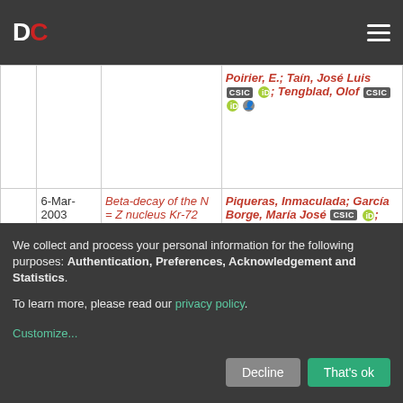DC (navigation bar with logo and menu)
|  | Date | Title | Authors |
| --- | --- | --- | --- |
|  |  |  | Poirier, E.; Taín, José Luis [CSIC] [ORCID]; Tengblad, Olof [CSIC] [ORCID] [person] |
|  | 6-Mar-2003 | Beta-decay of the N = Z nucleus Kr-72 | Piqueras, Inmaculada; García Borge, María José [CSIC] [ORCID]; Dessagne, Ph.; Giovinazzo, J.; Huck, A.; Jokinen, A.; |
We collect and process your personal information for the following purposes: Authentication, Preferences, Acknowledgement and Statistics.
To learn more, please read our privacy policy.
Customize...  Decline  That's ok